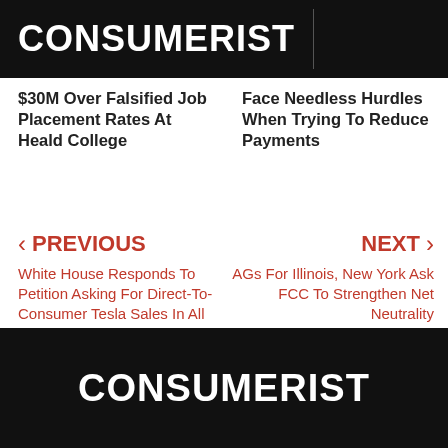CONSUMERIST
$30M Over Falsified Job Placement Rates At Heald College
Face Needless Hurdles When Trying To Reduce Payments
PREVIOUS
White House Responds To Petition Asking For Direct-To-Consumer Tesla Sales In All 50 States
NEXT
AGs For Illinois, New York Ask FCC To Strengthen Net Neutrality
CONSUMERIST